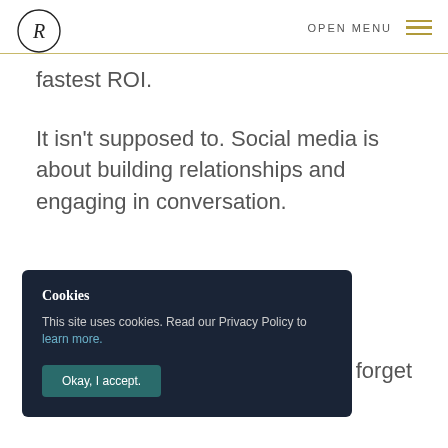OPEN MENU
fastest ROI.
It isn't supposed to. Social media is about building relationships and engaging in conversation.
Cookies
This site uses cookies. Read our Privacy Policy to learn more.
Okay, I accept.
don't forget